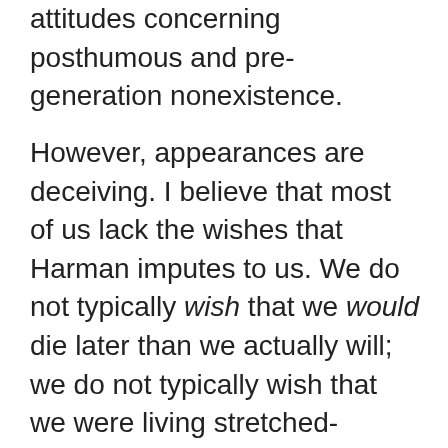attitudes concerning posthumous and pre-generation nonexistence.
However, appearances are deceiving. I believe that most of us lack the wishes that Harman imputes to us. We do not typically wish that we would die later than we actually will; we do not typically wish that we were living stretched-forward lives. Rather, we typically hope that we will die later than some time or other, perhaps most often the time at which (or the roughly defined time interval in which) we suspect we will die. So, even if one who has the sort of wish that Harman imputes to us must also on pain of irrationality wish for a stretched-back life, it isn't the case that we typically must on